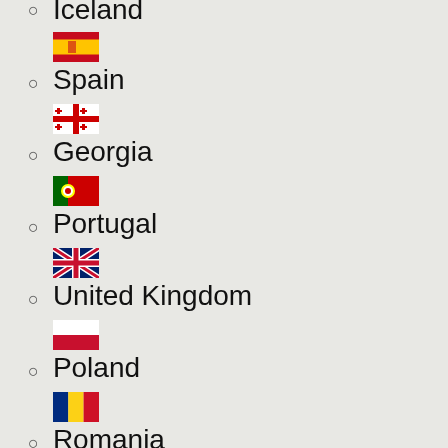Iceland
Spain
Georgia
Portugal
United Kingdom
Poland
Romania
Austria
Ukraine